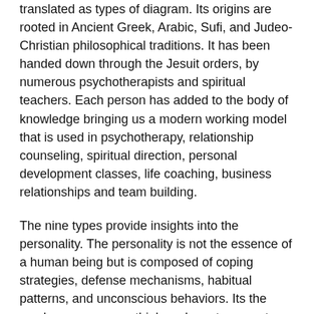translated as types of diagram. Its origins are rooted in Ancient Greek, Arabic, Sufi, and Judeo-Christian philosophical traditions. It has been handed down through the Jesuit orders, by numerous psychotherapists and spiritual teachers. Each person has added to the body of knowledge bringing us a modern working model that is used in psychotherapy, relationship counseling, spiritual direction, personal development classes, life coaching, business relationships and team building.
The nine types provide insights into the personality. The personality is not the essence of a human being but is composed of coping strategies, defense mechanisms, habitual patterns, and unconscious behaviors. Its the masks we wear – or think we have to wear -to survive. As a survival mechanism, our personality is threatened by the mystery of existence. This is manifested in fear, and each personality type has a specific fear and traits that developed in response.
The Enneagram includes ideas and information from modern psychology, taking the various viewpoints of Freud, Jung, Karen